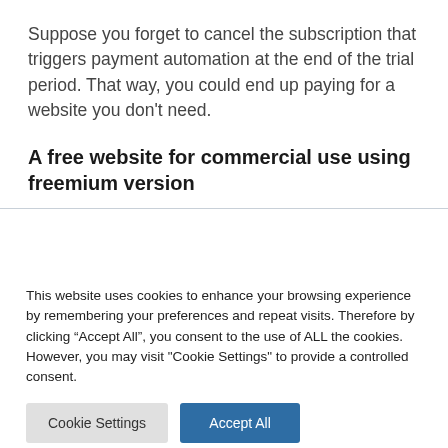Suppose you forget to cancel the subscription that triggers payment automation at the end of the trial period. That way, you could end up paying for a website you don't need.
A free website for commercial use using freemium version
This website uses cookies to enhance your browsing experience by remembering your preferences and repeat visits. Therefore by clicking "Accept All", you consent to the use of ALL the cookies. However, you may visit "Cookie Settings" to provide a controlled consent.